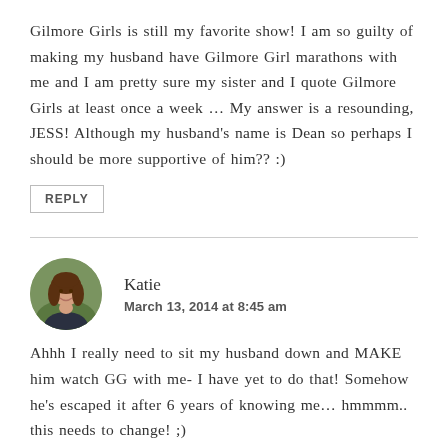Gilmore Girls is still my favorite show! I am so guilty of making my husband have Gilmore Girl marathons with me and I am pretty sure my sister and I quote Gilmore Girls at least once a week … My answer is a resounding, JESS! Although my husband's name is Dean so perhaps I should be more supportive of him?? :)
REPLY
[Figure (photo): Circular avatar photo of a woman named Katie with long brown hair, smiling, outdoors with green background]
Katie
March 13, 2014 at 8:45 am
Ahhh I really need to sit my husband down and MAKE him watch GG with me- I have yet to do that! Somehow he's escaped it after 6 years of knowing me… hmmmm.. this needs to change! ;)
xo